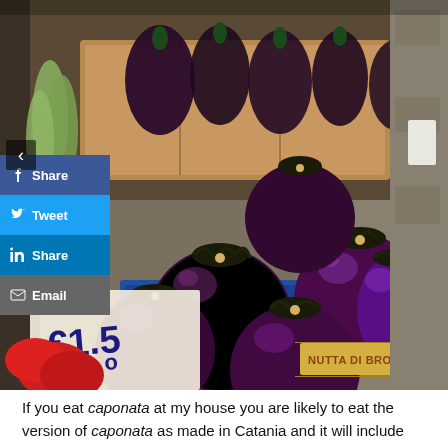[Figure (photo): Market stall with round purple/violet eggplants (aubergines) in wooden crates, a price tag showing '€1.50', a sign reading 'NUTTA DI BRONTE', red peppers in foreground, social sharing buttons (Share, Tweet, Share, Email) overlaid on the left side of the image, and a left navigation arrow.]
If you eat caponata at my house you are likely to eat the version of caponata as made in Catania and it will include